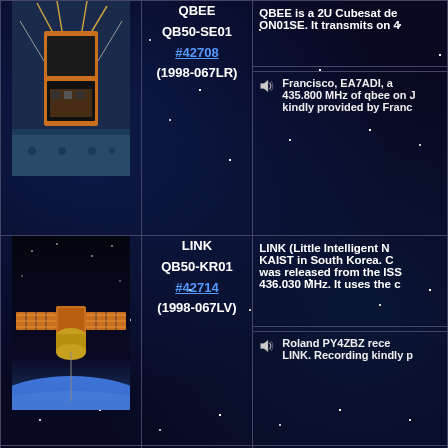[Figure (photo): QBEE satellite photo showing a 2U CubeSat with deployed antennas on a lab table]
QBEE
QB50-SE01
#42708
(1998-067LR)
QBEE is a 2U Cubesat de ON01SE. It transmits on 4
Francisco, EA7ADI, a 435.800 MHz of qbee on J kindly provided by Franc
[Figure (photo): LINK satellite photo showing a CubeSat with orange solar panels deployed against Earth horizon]
LINK
QB50-KR01
#42714
(1998-067LV)
LINK (Little Intelligent N KAIST in South Korea. C was released from the ISS 436.030 MHz. It uses the c
Roland PY4ZBZ rece LINK. Recording kindly p
CSUNSat1 was built b